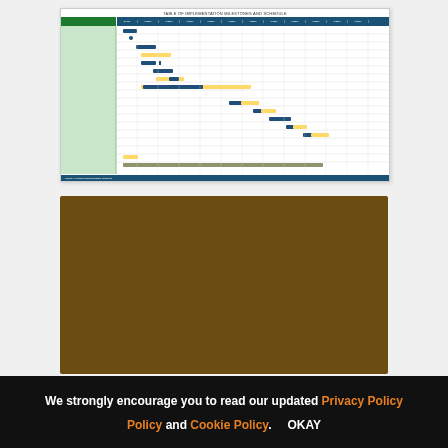[Figure (other): Gantt chart / project schedule thumbnail showing tasks on left with blue and yellow progress bars across a timeline grid with green and blue header rows]
[Figure (other): Solid dark brown/chocolate colored rectangle, appears to be a placeholder or image with a dark overlay]
[Figure (other): Partial thumbnail of a document labeled '[Company Name] - Meeting Timesheet Template' with a light blue header and address text below]
We strongly encourage you to read our updated Privacy Policy and Cookie Policy.   OKAY